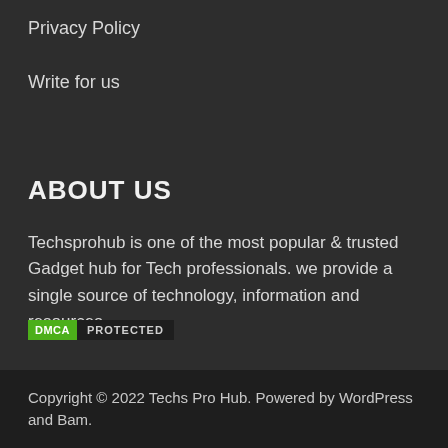Privacy Policy
Write for us
ABOUT US
Techsprohub is one of the most popular & trusted Gadget hub for Tech professionals. we provide a single source of technology, information and resources.
[Figure (logo): DMCA PROTECTED badge with green DMCA label and dark PROTECTED label]
Copyright © 2022 Techs Pro Hub. Powered by WordPress and Bam.